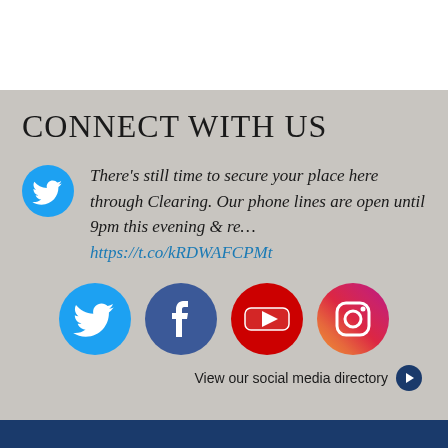CONNECT WITH US
There's still time to secure your place here through Clearing. Our phone lines are open until 9pm this evening & re… https://t.co/kRDWAFCPMt
[Figure (infographic): Four social media icons in circles: Twitter (light blue), Facebook (dark blue), YouTube (red), Instagram (pink/red gradient)]
View our social media directory